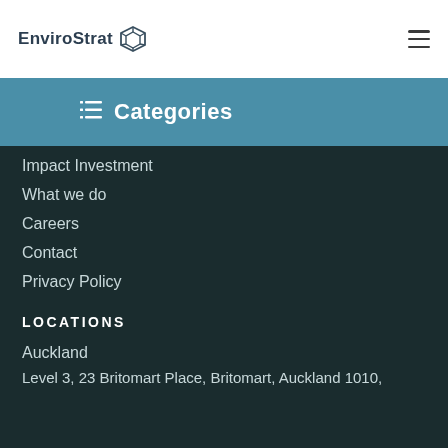EnviroStrat [logo]
Categories
Impact Investment
What we do
Careers
Contact
Privacy Policy
LOCATIONS
Auckland
Level 3, 23 Britomart Place, Britomart, Auckland 1010,